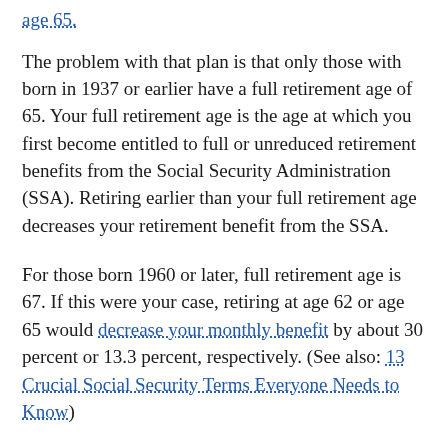age 65.
The problem with that plan is that only those with born in 1937 or earlier have a full retirement age of 65. Your full retirement age is the age at which you first become entitled to full or unreduced retirement benefits from the Social Security Administration (SSA). Retiring earlier than your full retirement age decreases your retirement benefit from the SSA.
For those born 1960 or later, full retirement age is 67. If this were your case, retiring at age 62 or age 65 would decrease your monthly benefit by about 30 percent or 13.3 percent, respectively. (See also: 13 Crucial Social Security Terms Everyone Needs to Know)
How to handle it